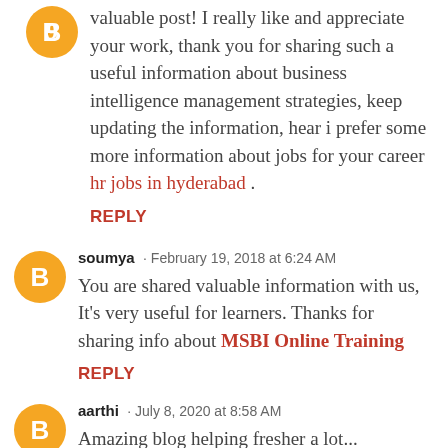valuable post! I really like and appreciate your work, thank you for sharing such a useful information about business intelligence management strategies, keep updating the information, hear i prefer some more information about jobs for your career hr jobs in hyderabad .
REPLY
soumya · February 19, 2018 at 6:24 AM
You are shared valuable information with us, It's very useful for learners. Thanks for sharing info about MSBI Online Training
REPLY
aarthi · July 8, 2020 at 8:58 AM
Amazing blog helping fresher a lot... Java training in Chennai | Certification |